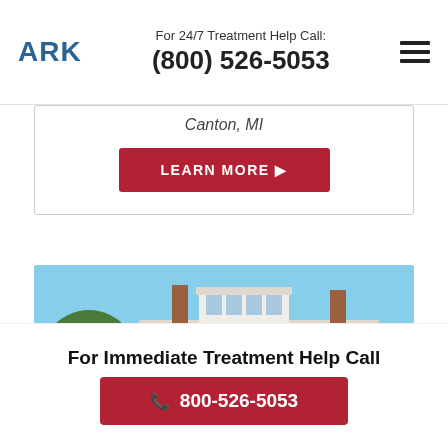ARK | For 24/7 Treatment Help Call: (800) 526-5053
Canton, MI
LEARN MORE
[Figure (photo): Exterior photo of a large white colonial-style house with black shutters, a covered front porch, multiple chimneys, and lush green landscaping under a blue sky.]
For Immediate Treatment Help Call
800-526-5053